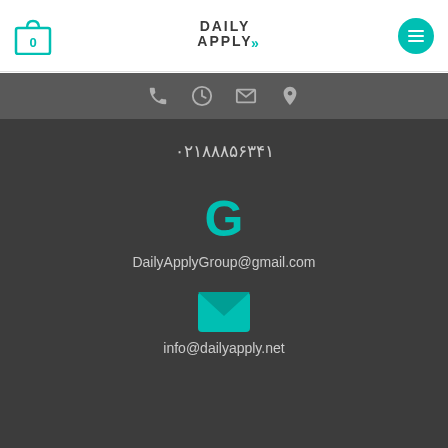Daily Apply - header with cart icon, logo, and menu button
[Figure (screenshot): Navigation icon bar with phone, clock, email, and location icons on dark grey background]
۰۲۱۸۸۸۵۶۳۴۱
[Figure (logo): Google G logo in teal color]
DailyApplyGroup@gmail.com
[Figure (illustration): Teal envelope/mail icon]
info@dailyapply.net